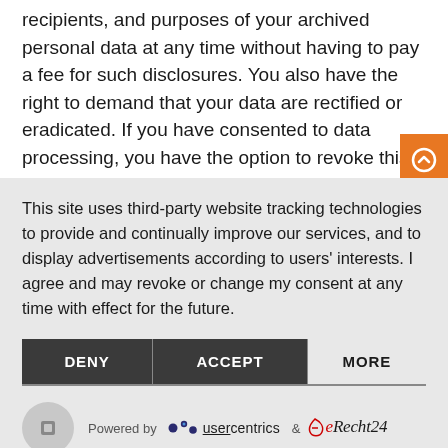recipients, and purposes of your archived personal data at any time without having to pay a fee for such disclosures. You also have the right to demand that your data are rectified or eradicated. If you have consented to data processing, you have the option to revoke this consent at any time, which shall affect all future data processing.
This site uses third-party website tracking technologies to provide and continually improve our services, and to display advertisements according to users' interests. I agree and may revoke or change my consent at any time with effect for the future.
DENY
ACCEPT
MORE
Powered by usercentrics & eRecht24